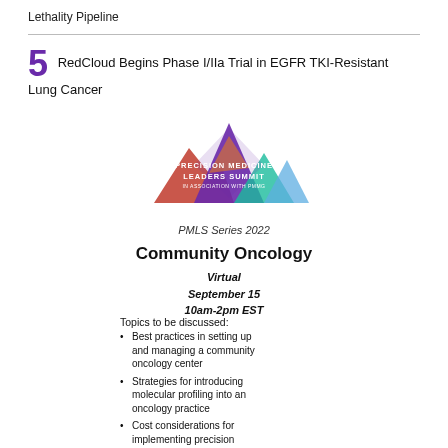Lethality Pipeline
5  RedCloud Begins Phase I/IIa Trial in EGFR TKI-Resistant Lung Cancer
[Figure (logo): Precision Medicine Leaders Summit logo with mountain peaks in purple, red, orange, teal colors]
PMLS Series 2022
Community Oncology
Virtual
September 15
10am-2pm EST
Topics to be discussed:
Best practices in setting up and managing a community oncology center
Strategies for introducing molecular profiling into an oncology practice
Cost considerations for implementing precision medicine in the community setting
Reimbursement trends for precision oncology diagnostics and treatments
The benefits of telehealth